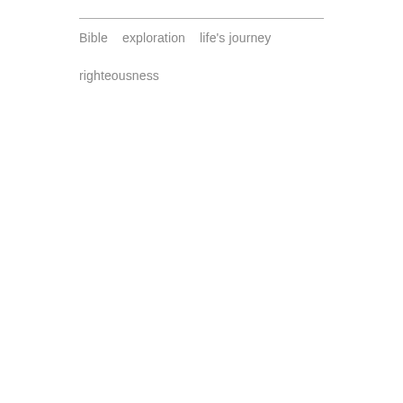Bible   exploration   life's journey

righteousness